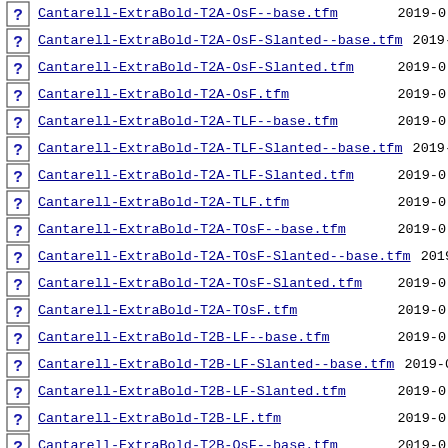Cantarell-ExtraBold-T2A-OsF--base.tfm 2019-0
Cantarell-ExtraBold-T2A-OsF-Slanted--base.tfm 2019-0
Cantarell-ExtraBold-T2A-OsF-Slanted.tfm 2019-0
Cantarell-ExtraBold-T2A-OsF.tfm 2019-0
Cantarell-ExtraBold-T2A-TLF--base.tfm 2019-0
Cantarell-ExtraBold-T2A-TLF-Slanted--base.tfm 2019-0
Cantarell-ExtraBold-T2A-TLF-Slanted.tfm 2019-0
Cantarell-ExtraBold-T2A-TLF.tfm 2019-0
Cantarell-ExtraBold-T2A-TOsF--base.tfm 2019-0
Cantarell-ExtraBold-T2A-TOsF-Slanted--base.tfm 2019-0
Cantarell-ExtraBold-T2A-TOsF-Slanted.tfm 2019-0
Cantarell-ExtraBold-T2A-TOsF.tfm 2019-0
Cantarell-ExtraBold-T2B-LF--base.tfm 2019-0
Cantarell-ExtraBold-T2B-LF-Slanted--base.tfm 2019-0
Cantarell-ExtraBold-T2B-LF-Slanted.tfm 2019-0
Cantarell-ExtraBold-T2B-LF.tfm 2019-0
Cantarell-ExtraBold-T2B-OsF--base.tfm 2019-0
Cantarell-ExtraBold-T2B-OsF-Slanted--base.tfm 2019-0